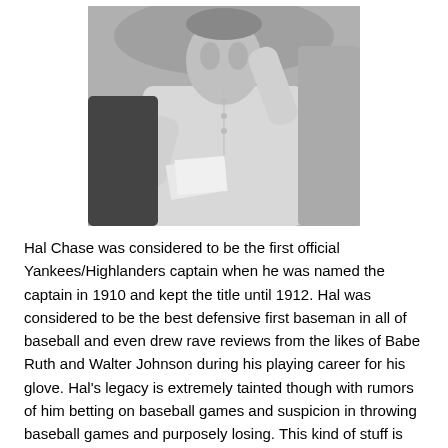[Figure (photo): Black and white photograph of Hal Chase, a baseball player, shown from the chest up, raising one hand, surrounded by other people]
Hal Chase was considered to be the first official Yankees/Highlanders captain when he was named the captain in 1910 and kept the title until 1912. Hal was considered to be the best defensive first baseman in all of baseball and even drew rave reviews from the likes of Babe Ruth and Walter Johnson during his playing career for his glove. Hal's legacy is extremely tainted though with rumors of him betting on baseball games and suspicion in throwing baseball games and purposely losing. This kind of stuff is